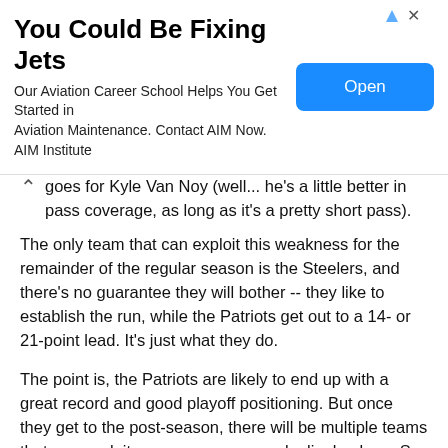[Figure (other): Advertisement banner: 'You Could Be Fixing Jets' - Our Aviation Career School Helps You Get Started in Aviation Maintenance. Contact AIM Now. AIM Institute. With an Open button.]
goes for Kyle Van Noy (well... he's a little better in pass coverage, as long as it's a pretty short pass).
The only team that can exploit this weakness for the remainder of the regular season is the Steelers, and there's no guarantee they will bother -- they like to establish the run, while the Patriots get out to a 14- or 21-point lead. It's just what they do.
The point is, the Patriots are likely to end up with a great record and good playoff positioning. But once they get to the post-season, there will be multiple teams that can exploit poor pass coverage by linebackers. So we might not know if they are vulnerable until it's too late. Stay tuned; I'll do my best to watch for signs of improvement here.
So where does that leave us? Riding high at 9-2, and pointing for a Super Bowl victory over Pittsburgh tonight that...